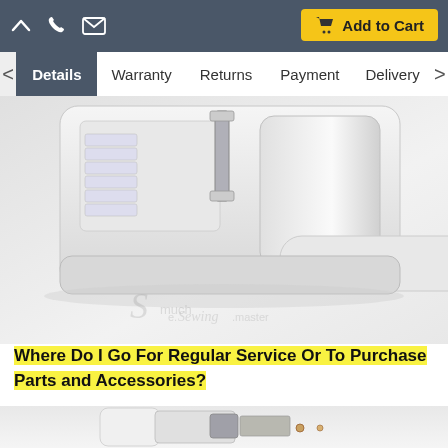Navigation bar with icons: up arrow, phone, email | Add to Cart button | Tabs: Details (active), Warranty, Returns, Payment, Delivery
[Figure (photo): Close-up photo of a white sewing machine part/accessory component with plastic housing and metal clip, shown from below/side angle. Watermark text visible: 'e.Sewing.master much faster']
Where Do I Go For Regular Service Or To Purchase Parts and Accessories?
[Figure (photo): Partial photo of sewing machine mechanical components at the bottom of the page]